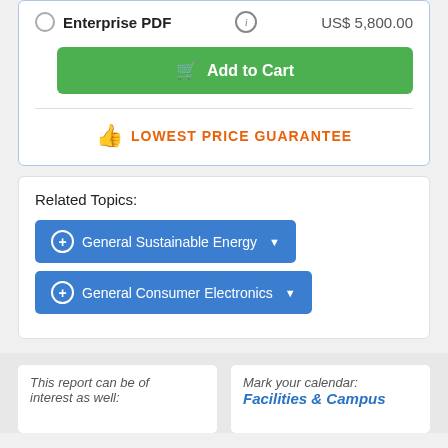Enterprise PDF  US$ 5,800.00
Add to Cart
LOWEST PRICE GUARANTEE
Related Topics:
General Sustainable Energy
General Consumer Electronics
This report can be of interest as well:
Mark your calendar:
Facilities & Campus